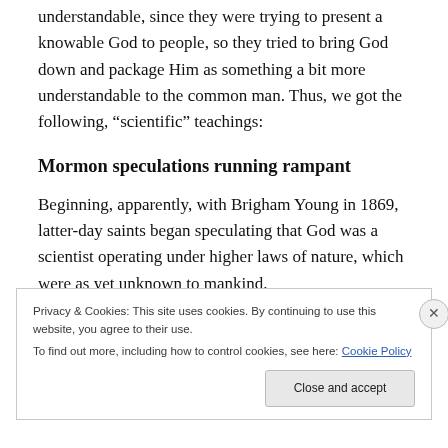understandable, since they were trying to present a knowable God to people, so they tried to bring God down and package Him as something a bit more understandable to the common man. Thus, we got the following, “scientific” teachings:
Mormon speculations running rampant
Beginning, apparently, with Brigham Young in 1869, latter-day saints began speculating that God was a scientist operating under higher laws of nature, which were as yet unknown to mankind.
Privacy & Cookies: This site uses cookies. By continuing to use this website, you agree to their use.
To find out more, including how to control cookies, see here: Cookie Policy